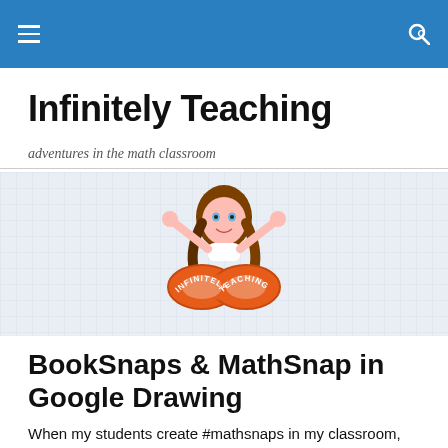Navigation bar with menu and search icons
Infinitely Teaching
adventures in the math classroom
[Figure (logo): Infinitely Teaching logo: cartoon woman with arms raised above an orange infinity symbol with 'INFINITELY TEACHING' text, on a light grid background]
BookSnaps & MathSnap in Google Drawing
When my students create #mathsnaps in my classroom,